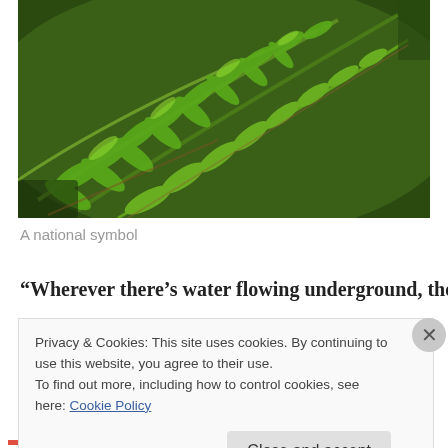[Figure (photo): Close-up photo of green fern fronds with detailed leaflets, a national symbol.]
A national symbol
“Wherever there’s water flowing underground, there will be
Privacy & Cookies: This site uses cookies. By continuing to use this website, you agree to their use.
To find out more, including how to control cookies, see here: Cookie Policy
Close and accept